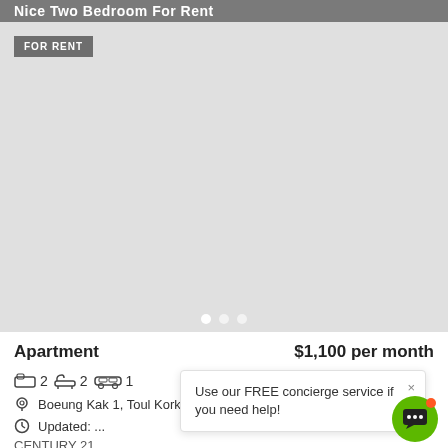Nice Two Bedroom For Rent
[Figure (photo): Gray placeholder image area for property listing with FOR RENT badge and three dot navigation indicators at bottom]
Apartment   $1,100 per month
🛏 2  🛁 2  🚗 1
Boeung Kak 1, Toul Kork, Phnom P...
Updated: ...
CENTURY 21 ...
Use our FREE concierge service if you need help!